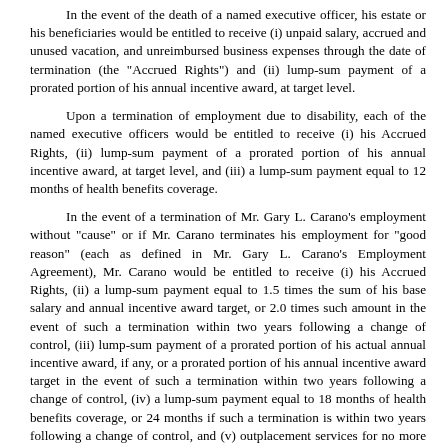In the event of the death of a named executive officer, his estate or his beneficiaries would be entitled to receive (i) unpaid salary, accrued and unused vacation, and unreimbursed business expenses through the date of termination (the "Accrued Rights") and (ii) lump-sum payment of a prorated portion of his annual incentive award, at target level.
Upon a termination of employment due to disability, each of the named executive officers would be entitled to receive (i) his Accrued Rights, (ii) lump-sum payment of a prorated portion of his annual incentive award, at target level, and (iii) a lump-sum payment equal to 12 months of health benefits coverage.
In the event of a termination of Mr. Gary L. Carano's employment without "cause" or if Mr. Carano terminates his employment for "good reason" (each as defined in Mr. Gary L. Carano's Employment Agreement), Mr. Carano would be entitled to receive (i) his Accrued Rights, (ii) a lump-sum payment equal to 1.5 times the sum of his base salary and annual incentive award target, or 2.0 times such amount in the event of such a termination within two years following a change of control, (iii) lump-sum payment of a prorated portion of his actual annual incentive award, if any, or a prorated portion of his annual incentive award target in the event of such a termination within two years following a change of control, (iv) a lump-sum payment equal to 18 months of health benefits coverage, or 24 months if such a termination is within two years following a change of control, and (v) outplacement services for no more than 18 months and in an amount not to exceed $15,000, or for no more than 24 months and in an amount not to exceed $20,000 if such a termination is within two years following a change of control.